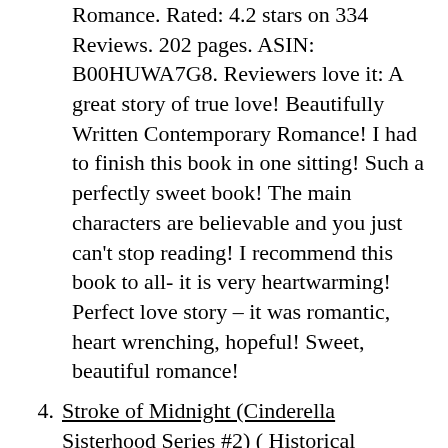Romance. Rated: 4.2 stars on 334 Reviews. 202 pages. ASIN: B00HUWA7G8. Reviewers love it: A great story of true love! Beautifully Written Contemporary Romance! I had to finish this book in one sitting! Such a perfectly sweet book! The main characters are believable and you just can't stop reading! I recommend this book to all- it is very heartwarming! Perfect love story – it was romantic, heart wrenching, hopeful! Sweet, beautiful romance!
4. Stroke of Midnight (Cinderella Sisterhood Series #2) ( Historical Romance ) by Olivia Drake. Price: $2.99. Genre: Historical Romance. Rated 4.4 stars on 14 reviews. ASIN: B00B22ASWU.
5. Deliciously Obedient ( Contemporary Romance ) by Julia Kent. Price: $0. Genre: Contemporary Romance. Rated 4.6 stars on 31 reviews. ASIN: B00HV5RCI0.
6. Sea Glass Sunrise ( Contemporary Romance, Small